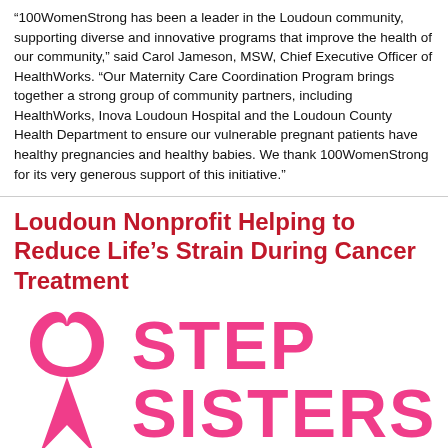“100WomenStrong has been a leader in the Loudoun community, supporting diverse and innovative programs that improve the health of our community,” said Carol Jameson, MSW, Chief Executive Officer of HealthWorks. “Our Maternity Care Coordination Program brings together a strong group of community partners, including HealthWorks, Inova Loudoun Hospital and the Loudoun County Health Department to ensure our vulnerable pregnant patients have healthy pregnancies and healthy babies. We thank 100WomenStrong for its very generous support of this initiative.”
Loudoun Nonprofit Helping to Reduce Life’s Strain During Cancer Treatment
[Figure (logo): Step Sisters logo: a pink breast cancer awareness ribbon on the left and bold pink text reading STEP SISTERS on the right]